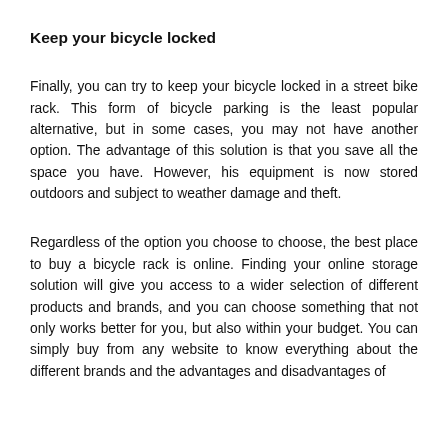Keep your bicycle locked
Finally, you can try to keep your bicycle locked in a street bike rack. This form of bicycle parking is the least popular alternative, but in some cases, you may not have another option. The advantage of this solution is that you save all the space you have. However, his equipment is now stored outdoors and subject to weather damage and theft.
Regardless of the option you choose to choose, the best place to buy a bicycle rack is online. Finding your online storage solution will give you access to a wider selection of different products and brands, and you can choose something that not only works better for you, but also within your budget. You can simply buy from any website to know everything about the different brands and the advantages and disadvantages of each one.